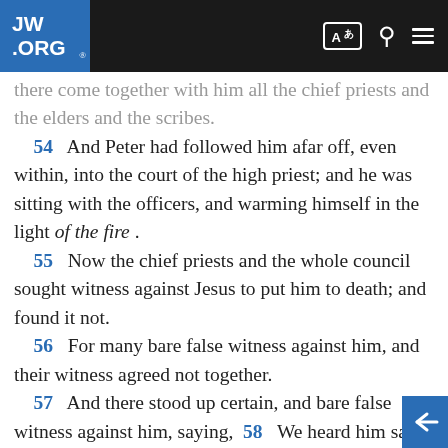JW.ORG
there come together with him all the chief priests and the elders and the scribes. 54 And Peter had followed him afar off, even within, into the court of the high priest; and he was sitting with the officers, and warming himself in the light of the fire . 55 Now the chief priests and the whole council sought witness against Jesus to put him to death; and found it not. 56 For many bare false witness against him, and their witness agreed not together. 57 And there stood up certain, and bare false witness against him, saying, 58 We heard him say, I will destroy this temple that is made with hands, and in three days I will build another made without hands. 59 And not even so did their witness agree